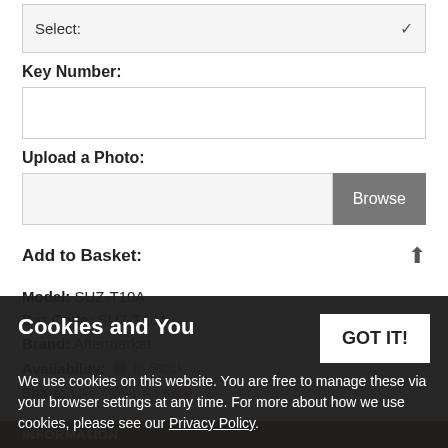Select:
Key Number:
Upload a Photo:
Add to Basket:
Model: SUZ-T10A
Bar Code: SUZ-T10A
Brand: Aftermarket
Availability: In Stock
Share:
INFORMATION
Cookies and You
We use cookies on this website. You are free to manage these via your browser settings at any time. For more about how we use cookies, please see our Privacy Policy.
GOT IT!